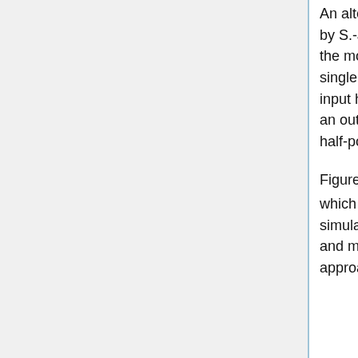An alternative is to use the Fortran regridding code map_a2a (developed by S.-J. Lin and refined by Bob Yantosca). I have experimented with this in the model and have it working for some situations but the code has a single option for half-polar grids. This permits direct regridding from an input half-polar grid to an output half-polar grid, or an input full-polar grid to an output full-polar grid, but does not properly regrid between full-polar and half-polar.
Figures depicting CO2 differences in the net terrestrial exchange field which was on a generic 1x1 grid then regridded to 2x2.5 for a model simulation using different approaches (IDL regridh.pro, regrid_1x1_mod, and map_a2a) are shown below, to emphasize that a single-step regridding approach is the